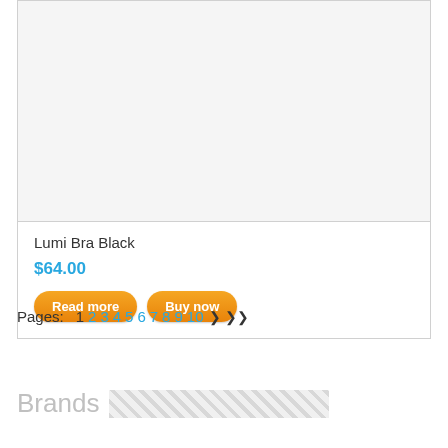[Figure (photo): Product image area — empty light gray rectangle representing a product photo placeholder for Lumi Bra Black]
Lumi Bra Black
$64.00
Read more
Buy now
Pages:  1 2 3 4 5 6 7 8 9 10 ❯ ❯❯
Brands